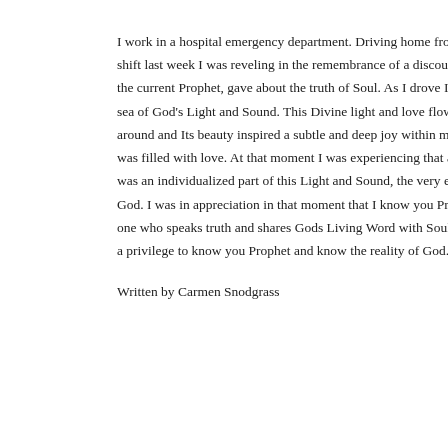I work in a hospital emergency department. Driving home from a long shift last week I was reveling in the remembrance of a discourse Del, the current Prophet, gave about the truth of Soul. As I drove I was in a sea of God's Light and Sound. This Divine light and love flowed all around and Its beauty inspired a subtle and deep joy within my heart. I was filled with love. At that moment I was experiencing that as Soul I was an individualized part of this Light and Sound, the very essence of God. I was in appreciation in that moment that I know you Prophet, the one who speaks truth and shares Gods Living Word with Soul. It is such a privilege to know you Prophet and know the reality of God.
Written by Carmen Snodgrass